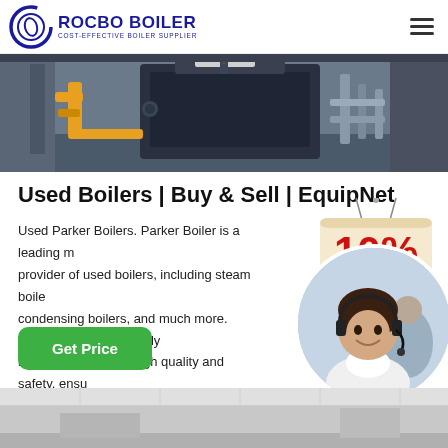ROCBO BOILER - COST-EFFECTIVE BOILER SUPPLIER
[Figure (photo): Industrial boiler equipment photo showing large dark boiler unit with yellow/orange piping and industrial fittings in a facility]
Used Boilers | Buy & Sell | EquipNet
[Figure (infographic): 10% DISCOUNT badge - hanging sign style with red text '10%' and blue text 'DISCOUNT']
Used Parker Boilers. Parker Boiler is a leading manufacturer and provider of used boilers, including steam boilers, condensing boilers, and much more. Parker boilers are widely recognized for their high quality and safety, ensu
[Figure (photo): Customer service representative woman with headset smiling, in circular crop, with another agent visible behind]
[Figure (photo): Bottom partial photo of industrial boiler room interior with red piping visible on ceiling]